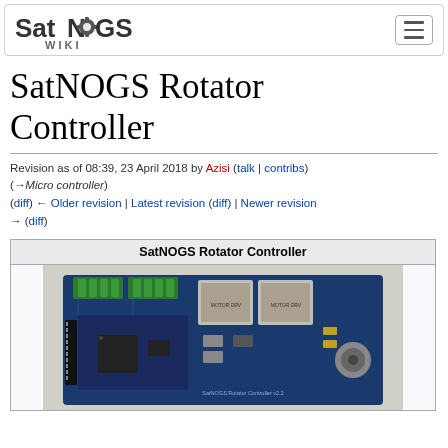SatNOGS WIKI
SatNOGS Rotator Controller
Revision as of 08:39, 23 April 2018 by Azisi (talk | contribs) (→Micro controller)
(diff) ← Older revision | Latest revision (diff) | Newer revision → (diff)
[Figure (photo): SatNOGS Rotator Controller PCB board photo showing a blue Arduino-compatible board with green terminal blocks and motor driver modules mounted on top]